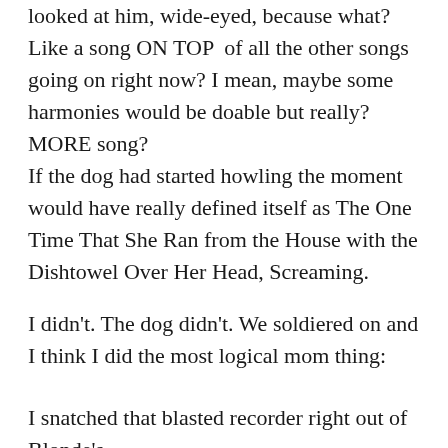looked at him, wide-eyed, because what? Like a song ON TOP of all the other songs going on right now? I mean, maybe some harmonies would be doable but really? MORE song?
If the dog had started howling the moment would have really defined itself as The One Time That She Ran from the House with the Dishtowel Over Her Head, Screaming.
I didn't. The dog didn't. We soldiered on and I think I did the most logical mom thing:
I snatched that blasted recorder right out of Blonde's